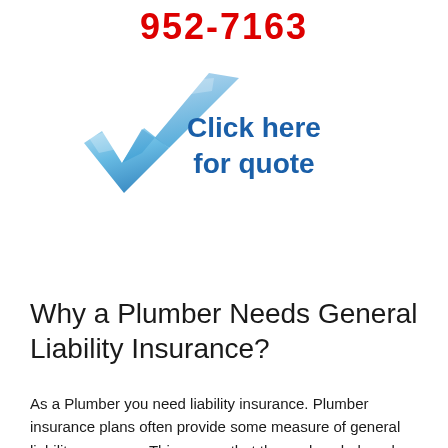952-7163
[Figure (illustration): Blue checkmark icon with text 'Click here for quote' in bold dark blue]
Why a Plumber Needs General Liability Insurance?
As a Plumber you need liability insurance. Plumber insurance plans often provide some measure of general liability coverage. This means that these plans help reduce the risk